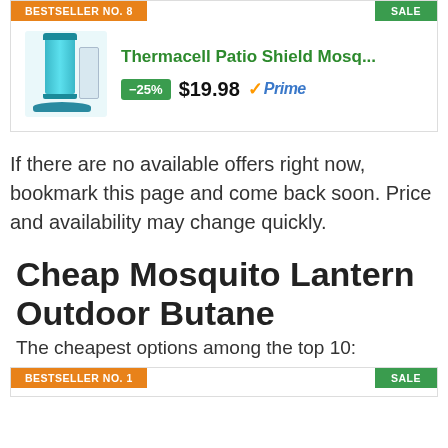[Figure (other): Product card for Thermacell Patio Shield Mosquito Repeller showing badge 'BESTSELLER NO. 8', 'SALE', product image, -25% discount badge, price $19.98, and Prime logo]
If there are no available offers right now, bookmark this page and come back soon. Price and availability may change quickly.
Cheap Mosquito Lantern Outdoor Butane
The cheapest options among the top 10:
[Figure (other): Bottom product card showing badges 'BESTSELLER NO. 1' and 'SALE' (partially visible)]